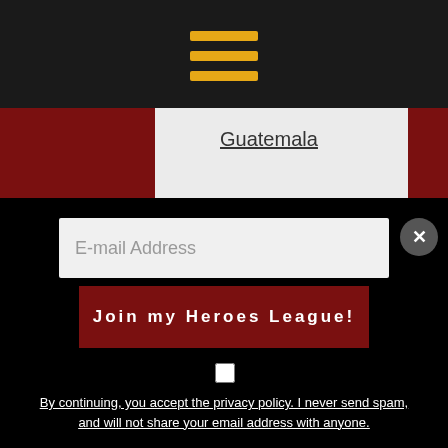[Figure (illustration): Hamburger menu icon with three horizontal golden/yellow bars on dark background]
Guatemala
ARCHIVES
[Figure (screenshot): Select Month dropdown menu]
RECENT COMMENTS
E-mail Address
Join my Heroes League!
By continuing, you accept the privacy policy. I never send spam, and will not share your email address with anyone.